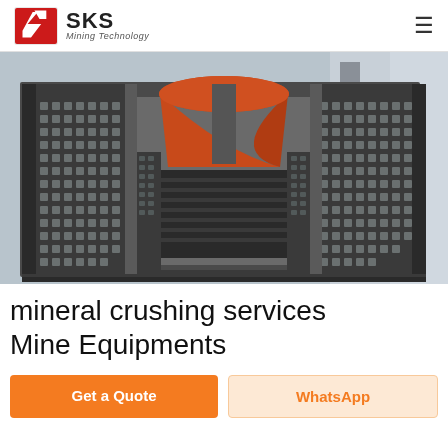SKS Mining Technology
[Figure (photo): Industrial mining cone crusher machinery viewed from below, showing perforated metal cage/basket structure and motor components, with orange/rust-colored cone visible at top]
mineral crushing services Mine Equipments
Get a Quote
WhatsApp